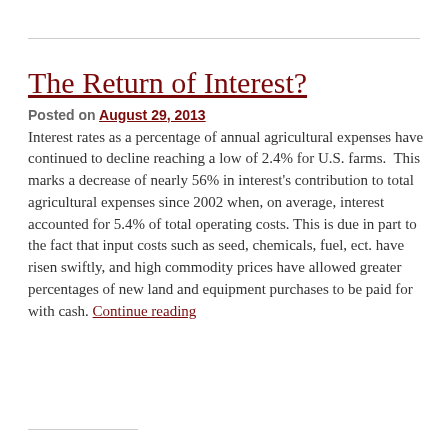The Return of Interest?
Posted on August 29, 2013
Interest rates as a percentage of annual agricultural expenses have continued to decline reaching a low of 2.4% for U.S. farms.  This marks a decrease of nearly 56% in interest's contribution to total agricultural expenses since 2002 when, on average, interest accounted for 5.4% of total operating costs. This is due in part to the fact that input costs such as seed, chemicals, fuel, ect. have risen swiftly, and high commodity prices have allowed greater percentages of new land and equipment purchases to be paid for with cash. Continue reading